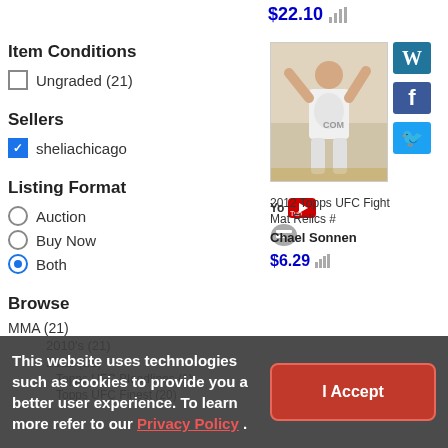$22.10
Item Conditions
Ungraded (21)
Sellers
sheliachicago
Listing Format
Auction
Buy Now
Both
Browse
MMA (21)
2010's (21)
2012 (21)
Topps UFC Bloodlines (1)
Topps UFC Finest (20)
[Figure (photo): UFC fighter trading card - 2012 Topps UFC Fight Mat Relics, Chael Sonnen]
2012 Topps UFC Fight Mat Relics #
Chael Sonnen
$6.29
This website uses technologies such as cookies to provide you a better user experience. To learn more refer to our Privacy Policy .